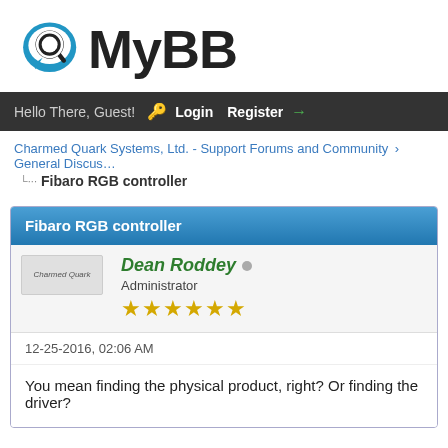[Figure (logo): MyBB forum software logo with blue speech bubble icon and bold black MyBB text]
Hello There, Guest! 🔑 Login Register →
Charmed Quark Systems, Ltd. - Support Forums and Community › General Discus…
Fibaro RGB controller
Fibaro RGB controller
Dean Roddey
Administrator
★★★★★★
12-25-2016, 02:06 AM
You mean finding the physical product, right? Or finding the driver?